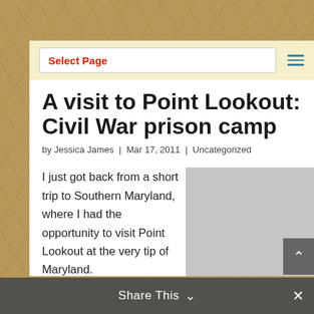Select Page
A visit to Point Lookout: Civil War prison camp
by Jessica James | Mar 17, 2011 | Uncategorized
I just got back from a short trip to Southern Maryland, where I had the opportunity to visit Point Lookout at the very tip of Maryland.
[Figure (photo): Gray placeholder image for article photo]
Share This